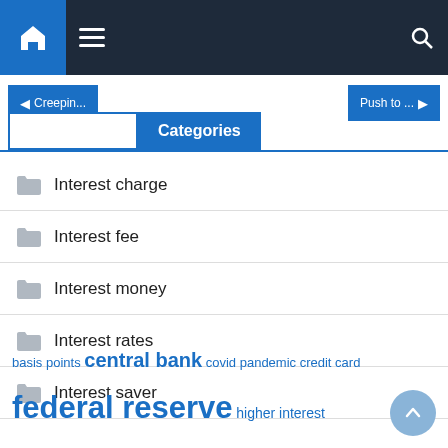Navigation bar with home, menu, and search icons
Categories
Interest charge
Interest fee
Interest money
Interest rates
Interest saver
basis points  central bank  covid pandemic  credit card  federal reserve  higher interest